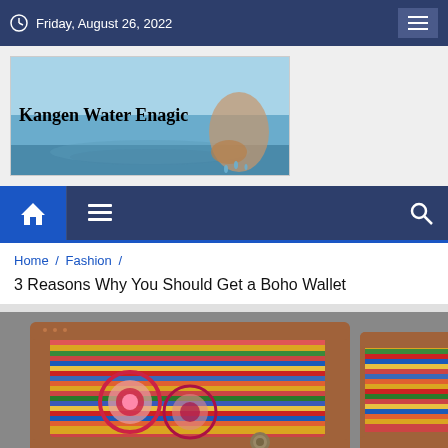Friday, August 26, 2022
[Figure (logo): Kangen Water Enagic banner with water and hands imagery]
[Figure (screenshot): Navigation bar with home icon, hamburger menu, and search icon]
Home / Fashion /
3 Reasons Why You Should Get a Boho Wallet
[Figure (photo): Colorful boho-style leather wallets with embroidered fabric and floral patterns]